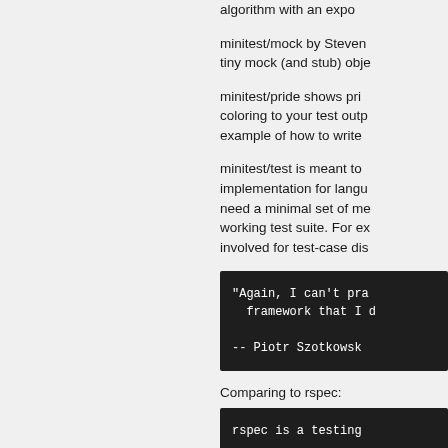algorithm with an expo...
minitest/mock by Steven... tiny mock (and stub) obje...
minitest/pride shows pri... coloring to your test outp... example of how to write...
minitest/test is meant to... implementation for langu... need a minimal set of me... working test suite. For ex... involved for test-case dis...
[Figure (screenshot): Dark code block with monospace text: '"Again, I can't pra... framework that I d...' '-- Piotr Szotkowsk...']
Comparing to rspec:
[Figure (screenshot): Dark code block with monospace text: 'rspec is a testing...']